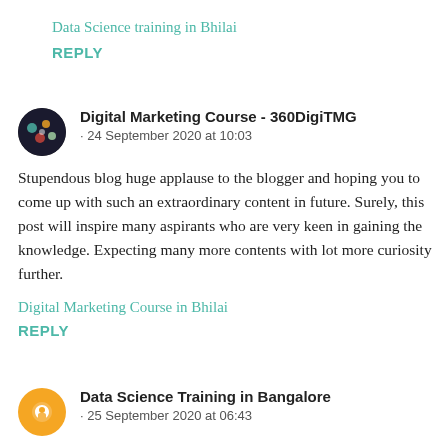Data Science training in Bhilai
REPLY
[Figure (photo): Round avatar icon for Digital Marketing Course - 360DigiTMG commenter]
Digital Marketing Course - 360DigiTMG
· 24 September 2020 at 10:03
Stupendous blog huge applause to the blogger and hoping you to come up with such an extraordinary content in future. Surely, this post will inspire many aspirants who are very keen in gaining the knowledge. Expecting many more contents with lot more curiosity further.
Digital Marketing Course in Bhilai
REPLY
[Figure (logo): Orange circle Blogger icon for Data Science Training in Bangalore commenter]
Data Science Training in Bangalore
· 25 September 2020 at 06:43